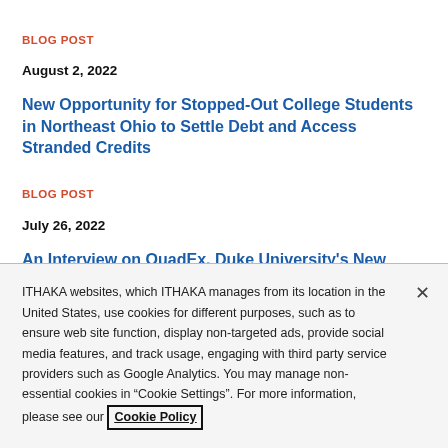BLOG POST
August 2, 2022
New Opportunity for Stopped-Out College Students in Northeast Ohio to Settle Debt and Access Stranded Credits
BLOG POST
July 26, 2022
An Interview on QuadEx, Duke University's New Equity-based Residential and Learning Model
ITHAKA websites, which ITHAKA manages from its location in the United States, use cookies for different purposes, such as to ensure web site function, display non-targeted ads, provide social media features, and track usage, engaging with third party service providers such as Google Analytics. You may manage non-essential cookies in “Cookie Settings”. For more information, please see our Cookie Policy